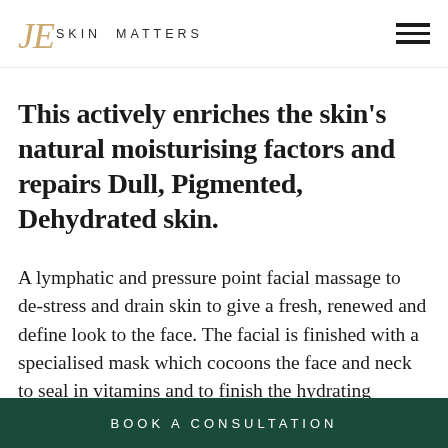JE SKIN MATTERS
This actively enriches the skin's natural moisturising factors and repairs Dull, Pigmented, Dehydrated skin.
A lymphatic and pressure point facial massage to de-stress and drain skin to give a fresh, renewed and define look to the face. The facial is finished with a specialised mask which cocoons the face and neck to seal in vitamins and to finish the hydrating process while cooling and soothing. An electrical pulse will flow through to lift and sculpt the face. While this mask works its magic for 20 minutes a deep neck, shoulder and scalp massage
BOOK A CONSULTATION